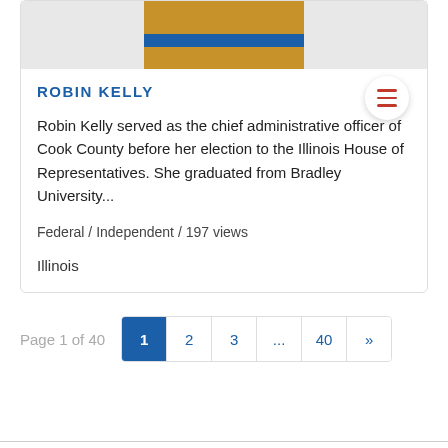[Figure (photo): Partial photo of Robin Kelly in an orange/yellow outfit with a blue sash, cropped at torso level]
ROBIN KELLY
Robin Kelly served as the chief administrative officer of Cook County before her election to the Illinois House of Representatives. She graduated from Bradley University...
Federal / Independent / 197 views
Illinois
Page 1 of 40  1 2 3 ... 40 »